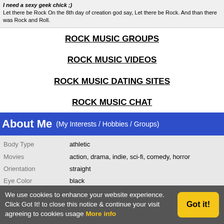I need a sexy geek chick ;)
Let there be Rock On the 8th day of creation god say, Let there be Rock. And than there was Rock and Roll.
ROCK MUSIC GROUPS
ROCK MUSIC VIDEOS
ROCK MUSIC DATING SITES
ROCK MUSIC CHAT
About Me  (My Interests / Hobbies / Groups)
| Attribute | Value |
| --- | --- |
| Body Type | athletic |
| Movies | action, drama, indie, sci-fi, comedy, horror |
| Orientation | straight |
| Eye Color | black |
| Hair Color | black |
We use cookies to enhance your website experience. Click Got It! to close this notice & continue your visit agreeing to cookies usage  More info